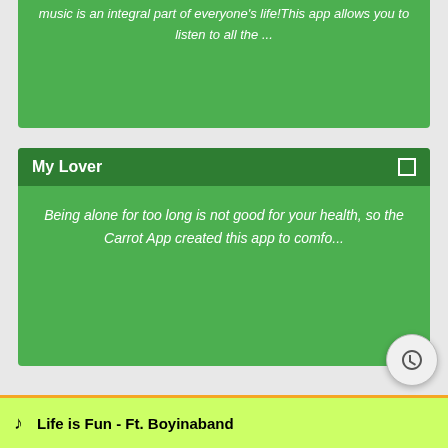[Figure (screenshot): Green card (top portion visible) with italic white text: music is an integral part of everyone's life! This app allows you to listen to all the ...]
[Figure (screenshot): Green card with dark green header 'My Lover' and a small square icon, body text: Being alone for too long is not good for your health, so the Carrot App created this app to comfo...]
Other songs
Life is Fun - Ft. Boyinaband